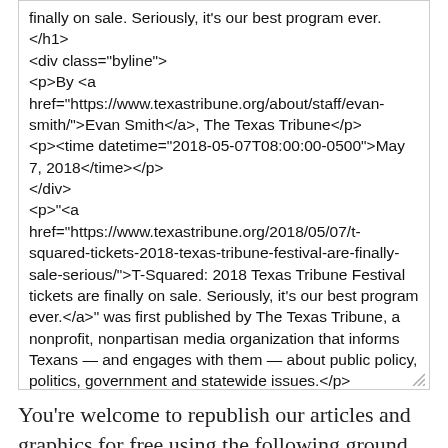finally on sale. Seriously, it's our best program ever.
</h1>
<div class="byline">
<p>By <a href="https://www.texastribune.org/about/staff/evan-smith/">Evan Smith</a>, The Texas Tribune</p>
<p><time datetime="2018-05-07T08:00:00-0500">May 7, 2018</time></p>
</div>
<p>"<a href="https://www.texastribune.org/2018/05/07/t-squared-tickets-2018-texas-tribune-festival-are-finally-sale-serious/">T-Squared: 2018 Texas Tribune Festival tickets are finally on sale. Seriously, it's our best program ever.</a>" was first published by The Texas Tribune, a nonprofit, nonpartisan media organization that informs Texans — and engages with them — about public policy, politics, government and statewide issues.</p>
<p>The big day has arrived: 2018 <a href="http://www.texastribune.org/festival"
You're welcome to republish our articles and graphics for free using the following ground rules. Let us know if you republish our stories; it makes us happy!